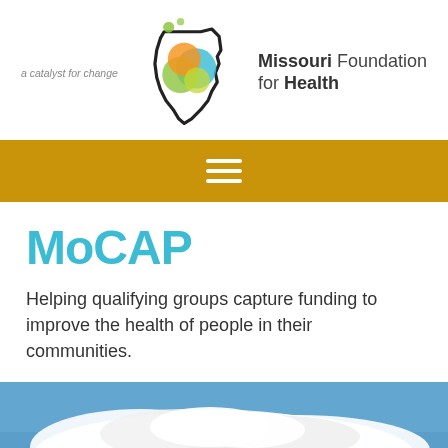[Figure (logo): Missouri Foundation for Health logo: Missouri state outline with overlapping colorful circles (green, yellow, orange, teal), tagline 'a catalyst for change', and organization name 'Missouri Foundation for Health']
[Figure (other): Gold/yellow navigation bar with white hamburger menu icon (three horizontal lines)]
MoCAP
Helping qualifying groups capture funding to improve the health of people in their communities.
[Figure (photo): Blue sky with white clouds photograph]